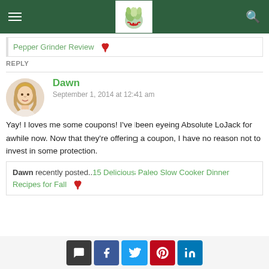Navigation bar with hamburger menu, site logo, and search icon
Pepper Grinder Review
REPLY
Dawn
September 1, 2014 at 12:41 am
Yay! I loves me some coupons! I've been eyeing Absolute LoJack for awhile now. Now that they're offering a coupon, I have no reason not to invest in some protection.
Dawn recently posted..15 Delicious Paleo Slow Cooker Dinner Recipes for Fall
Social sharing buttons: comment, facebook, twitter, pinterest, linkedin